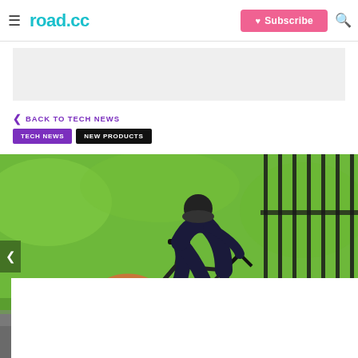road.cc — Subscribe
[Figure (other): Advertisement banner placeholder (grey rectangle)]
< BACK TO TECH NEWS
TECH NEWS   NEW PRODUCTS
[Figure (photo): Cyclist riding a road/gravel bike with brown-wall tyres, wearing dark bib tights with pink/white stripes, dark long-sleeve jersey, against a green park fence background]